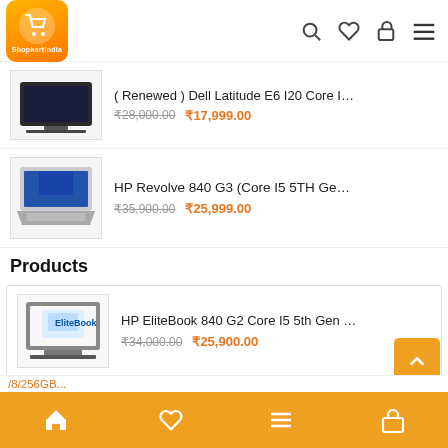Shopkartindia
( Renewed ) Dell Latitude E6 I20 Core I5 | 4GB RAM... ₹28,000.00  ₹17,999.00
HP Revolve 840 G3 (Core I5 5TH Gen/8GB/256GB... ₹35,900.00  ₹25,999.00
Products
HP EliteBook 840 G2 Core I5 5th Gen Business Cla... ₹34,000.00  ₹25,900.00
Lenovo Thinkpad T430 14-inch Laptop (Black) ₹27,000.00  ₹16,999.00
( Renewed ) Dell Latitude E6420 Core i5 | 4GB... ₹28,000.00  ₹17,999.00
Home  Wishlist  Menu  Cart   /8/256GB...